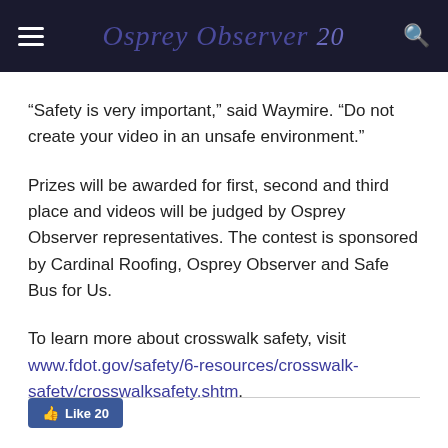Osprey Observer 20
“Safety is very important,” said Waymire. “Do not create your video in an unsafe environment.”
Prizes will be awarded for first, second and third place and videos will be judged by Osprey Observer representatives. The contest is sponsored by Cardinal Roofing, Osprey Observer and Safe Bus for Us.
To learn more about crosswalk safety, visit www.fdot.gov/safety/6-resources/crosswalk-safety/crosswalksafety.shtm.